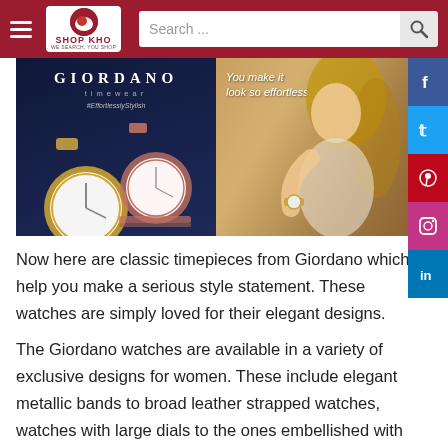SHOP KHO | Search ...
[Figure (photo): Giordano timewear advertisement showing two luxury watches (gold and rose gold) with #EffortlesslyStylish text, and a woman wearing a watch with tagline 'You make it look so effortless.']
Now here are classic timepieces from Giordano which help you make a serious style statement. These watches are simply loved for their elegant designs.
The Giordano watches are available in a variety of exclusive designs for women. These include elegant metallic bands to broad leather strapped watches, watches with large dials to the ones embellished with gorgeous stones.
Established in 1981, Giordano International is a Hong